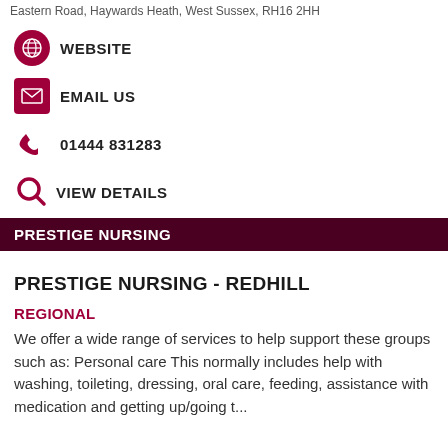Eastern Road, Haywards Heath, West Sussex, RH16 2HH
WEBSITE
EMAIL US
01444 831283
VIEW DETAILS
PRESTIGE NURSING
PRESTIGE NURSING - REDHILL
REGIONAL
We offer a wide range of services to help support these groups such as: Personal care This normally includes help with washing, toileting, dressing, oral care, feeding, assistance with medication and getting up/going t...